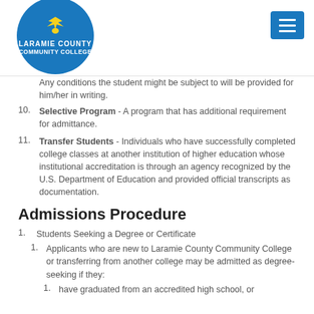Laramie County Community College
Any conditions the student might be subject to will be provided for him/her in writing.
10. Selective Program - A program that has additional requirement for admittance.
11. Transfer Students - Individuals who have successfully completed college classes at another institution of higher education whose institutional accreditation is through an agency recognized by the U.S. Department of Education and provided official transcripts as documentation.
Admissions Procedure
1. Students Seeking a Degree or Certificate
1. Applicants who are new to Laramie County Community College or transferring from another college may be admitted as degree-seeking if they:
1. have graduated from an accredited high school, or